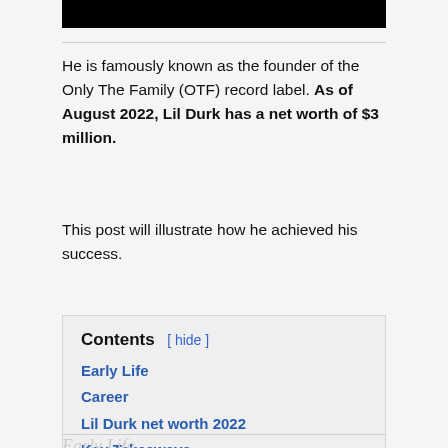[Figure (other): Black redaction bar at top of page]
He is famously known as the founder of the Only The Family (OTF) record label. As of August 2022, Lil Durk has a net worth of $3 million.
This post will illustrate how he achieved his success.
Contents [ hide ]
Early Life
Career
Lil Durk net worth 2022
Key Takeaways
Early Life